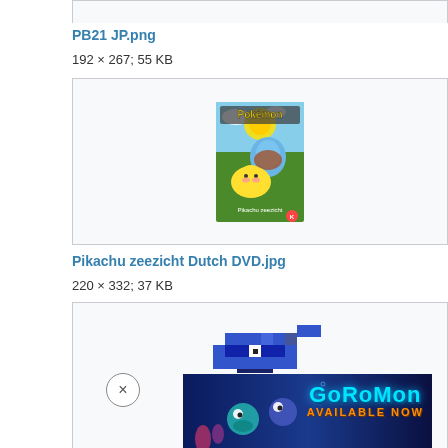PB21 JP.png
192 × 267; 55 KB
[Figure (photo): Pokemon Pikachu DVD/book cover with Pikachu and Squirtle characters, colorful anime artwork]
Pikachu zeezicht Dutch DVD.jpg
220 × 332; 37 KB
[Figure (screenshot): Bottom portion of a page showing a blue pixel-art character and a Coromon game advertisement banner reading 'AVAILABLE NOW']